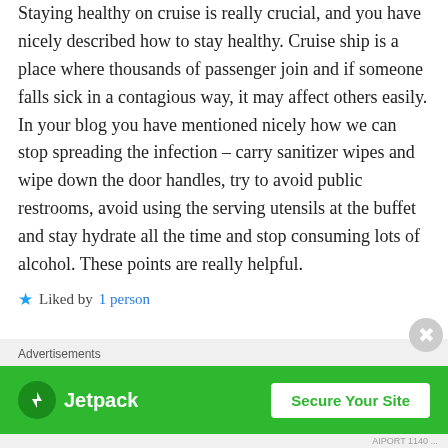Staying healthy on cruise is really crucial, and you have nicely described how to stay healthy. Cruise ship is a place where thousands of passenger join and if someone falls sick in a contagious way, it may affect others easily. In your blog you have mentioned nicely how we can stop spreading the infection – carry sanitizer wipes and wipe down the door handles, try to avoid public restrooms, avoid using the serving utensils at the buffet and stay hydrate all the time and stop consuming lots of alcohol. These points are really helpful.
★ Liked by 1 person
Advertisements
[Figure (other): Jetpack advertisement banner with green background showing Jetpack logo and 'Secure Your Site' button]